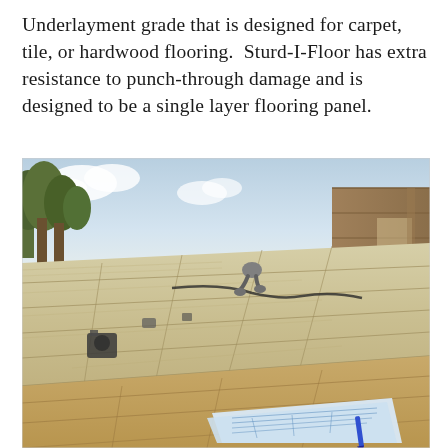Underlayment grade that is designed for carpet, tile, or hardwood flooring.  Sturd-I-Floor has extra resistance to punch-through damage and is designed to be a single layer flooring panel.
[Figure (photo): Outdoor construction site photograph showing a large open floor area covered with plywood/OSB underlayment panels (Sturd-I-Floor). A worker is bent over working in the middle distance. Trees and sky are visible in the background. On the right side, a building wall is under construction with insulation visible. In the foreground, blueprints/plans and a blue pen are visible on top of additional OSB panels.]